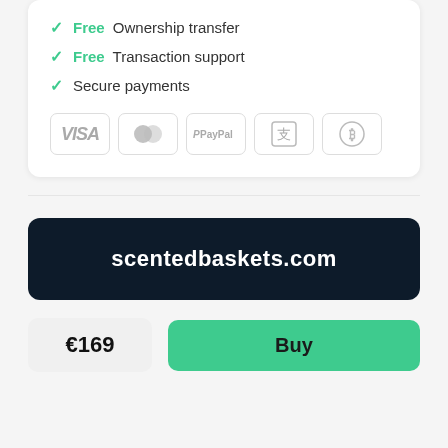✓ Free Ownership transfer
✓ Free Transaction support
✓ Secure payments
[Figure (infographic): Payment method icons: VISA, Mastercard, PayPal, Alipay, Bitcoin]
scentedbaskets.com
€169
Buy